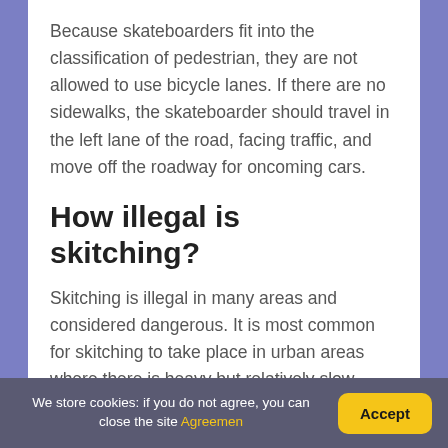Because skateboarders fit into the classification of pedestrian, they are not allowed to use bicycle lanes. If there are no sidewalks, the skateboarder should travel in the left lane of the road, facing traffic, and move off the roadway for oncoming cars.
How illegal is skitching?
Skitching is illegal in many areas and considered dangerous. It is most common for skitching to take place in urban areas where there is heavy but relatively slow traffic. This is because skitchers can sometimes hang on to busses, vans, and
We store cookies: if you do not agree, you can close the site Agreemen